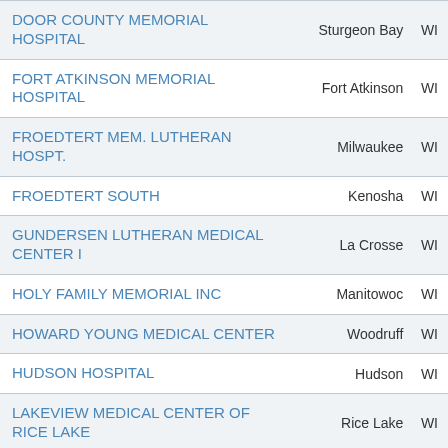| Hospital Name | City | State |
| --- | --- | --- |
| DOOR COUNTY MEMORIAL HOSPITAL | Sturgeon Bay | WI |
| FORT ATKINSON MEMORIAL HOSPITAL | Fort Atkinson | WI |
| FROEDTERT MEM. LUTHERAN HOSPT. | Milwaukee | WI |
| FROEDTERT SOUTH | Kenosha | WI |
| GUNDERSEN LUTHERAN MEDICAL CENTER I | La Crosse | WI |
| HOLY FAMILY MEMORIAL INC | Manitowoc | WI |
| HOWARD YOUNG MEDICAL CENTER | Woodruff | WI |
| HUDSON HOSPITAL | Hudson | WI |
| LAKEVIEW MEDICAL CENTER OF RICE LAKE | Rice Lake | WI |
| MARSHFIELD MEDICAL CENTER | Marshfield | WI |